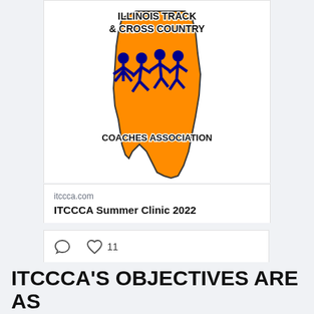[Figure (logo): Illinois Track & Cross Country Coaches Association logo: orange Illinois state shape with blue running figures silhouettes, text 'ILLINOIS TRACK & CROSS COUNTRY' at top and 'COACHES ASSOCIATION' at bottom]
itccca.com
ITCCCA Summer Clinic 2022
[Figure (infographic): Social interaction bar with comment icon, heart icon, and like count of 11]
View more on Twitter
Learn more about privacy on Twitter
ITCCCA'S OBJECTIVES ARE AS